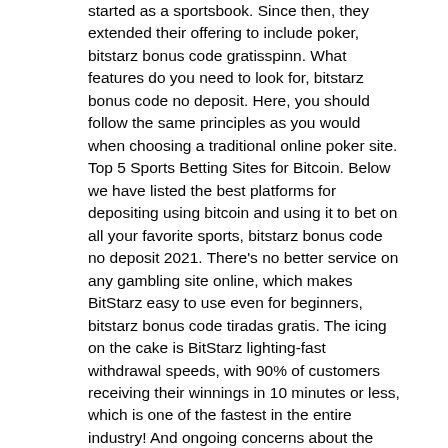started as a sportsbook. Since then, they extended their offering to include poker, bitstarz bonus code gratisspinn. What features do you need to look for, bitstarz bonus code no deposit. Here, you should follow the same principles as you would when choosing a traditional online poker site. Top 5 Sports Betting Sites for Bitcoin. Below we have listed the best platforms for depositing using bitcoin and using it to bet on all your favorite sports, bitstarz bonus code no deposit 2021. There's no better service on any gambling site online, which makes BitStarz easy to use even for beginners, bitstarz bonus code tiradas gratis. The icing on the cake is BitStarz lighting-fast withdrawal speeds, with 90% of customers receiving their winnings in 10 minutes or less, which is one of the fastest in the entire industry! And ongoing concerns about the volatility of Bitcoin's value has stopped it from truly entering mainstream use, bitstarz